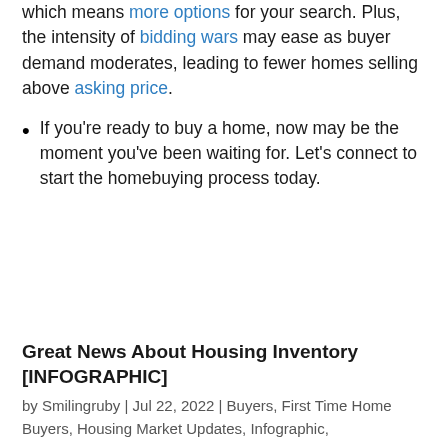which means more options for your search. Plus, the intensity of bidding wars may ease as buyer demand moderates, leading to fewer homes selling above asking price.
If you're ready to buy a home, now may be the moment you've been waiting for. Let's connect to start the homebuying process today.
Great News About Housing Inventory [INFOGRAPHIC]
by Smilingruby | Jul 22, 2022 | Buyers, First Time Home Buyers, Housing Market Updates, Infographic,